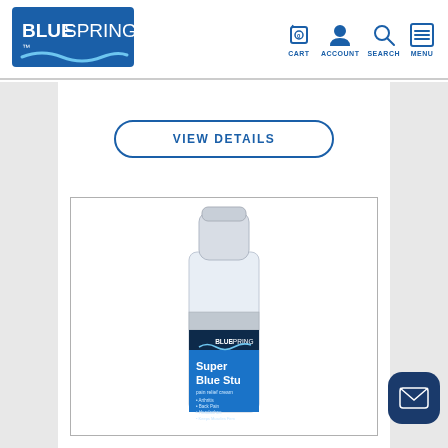[Figure (logo): BlueSpring logo - blue rectangle with BLUESPRING text and wave underneath]
[Figure (screenshot): Navigation icons: cart (with 0), account person icon, search magnifier, menu hamburger icon with labels CART, ACCOUNT, SEARCH, MENU in blue]
VIEW DETAILS
[Figure (photo): Product photo of Super Blue Stuff pain relief cream in a white roll-on bottle with blue label showing BLUESPRING logo and text: Super Blue Stuff, pain relief cream, Arthritis, Back Pain, Headaches, Keeps Muscles Firm, Natural Pain Relief]